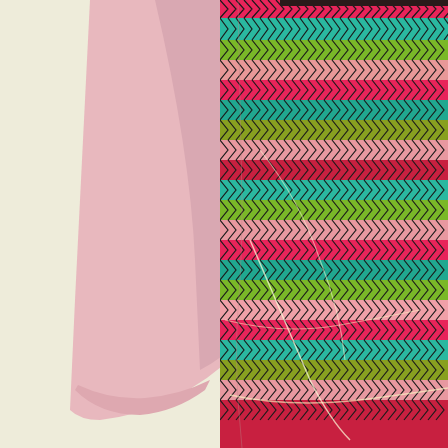[Figure (photo): Close-up photograph of a child's dress. On the left side is a plain light pink short sleeve. The main body of the dress features a colorful knit-print fabric pattern with interlocking chevron/braid shapes in shades of hot pink, red, teal, green, olive, and light pink, on a cream/off-white background. The dress hangs against a pale yellow-cream wall. A curved pocket seam line is visible on the patterned fabric.]